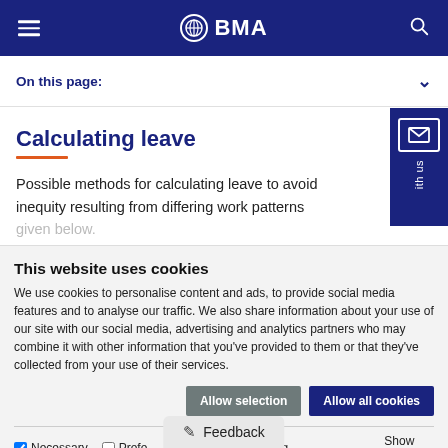BMA — British Medical Association navigation bar
On this page:
Calculating leave
Possible methods for calculating leave to avoid inequity resulting from differing work patterns given below.
This website uses cookies
We use cookies to personalise content and ads, to provide social media features and to analyse our traffic. We also share information about your use of our site with our social media, advertising and analytics partners who may combine it with other information that you've provided to them or that they've collected from your use of their services.
Allow selection | Allow all cookies
Necessary | Preferences | Statistics | Marketing | Show details
Feedback